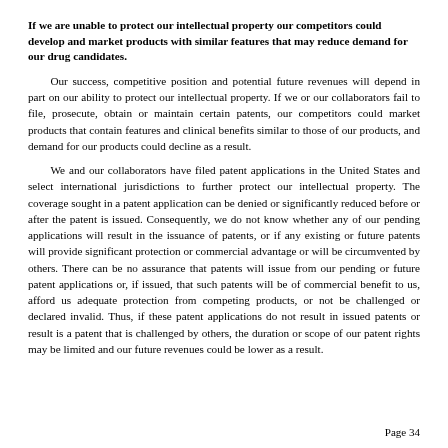If we are unable to protect our intellectual property our competitors could develop and market products with similar features that may reduce demand for our drug candidates.
Our success, competitive position and potential future revenues will depend in part on our ability to protect our intellectual property. If we or our collaborators fail to file, prosecute, obtain or maintain certain patents, our competitors could market products that contain features and clinical benefits similar to those of our products, and demand for our products could decline as a result.
We and our collaborators have filed patent applications in the United States and select international jurisdictions to further protect our intellectual property. The coverage sought in a patent application can be denied or significantly reduced before or after the patent is issued. Consequently, we do not know whether any of our pending applications will result in the issuance of patents, or if any existing or future patents will provide significant protection or commercial advantage or will be circumvented by others. There can be no assurance that patents will issue from our pending or future patent applications or, if issued, that such patents will be of commercial benefit to us, afford us adequate protection from competing products, or not be challenged or declared invalid. Thus, if these patent applications do not result in issued patents or result is a patent that is challenged by others, the duration or scope of our patent rights may be limited and our future revenues could be lower as a result.
Page 34